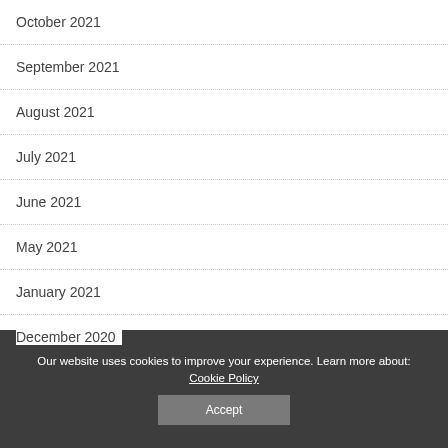October 2021
September 2021
August 2021
July 2021
June 2021
May 2021
January 2021
December 2020
November 2020
Our website uses cookies to improve your experience. Learn more about: Cookie Policy
Accept